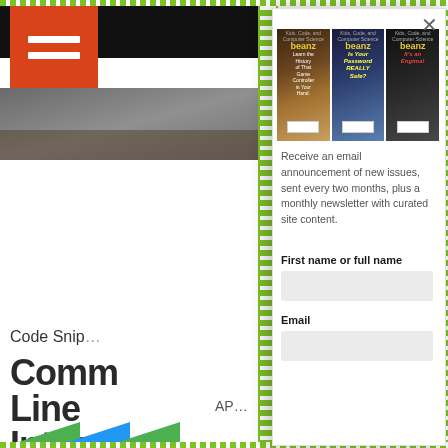[Figure (screenshot): Beanz magazine website background with orange/black header, hamburger menu icon, partial image, and partial article title showing 'Code Snip' and 'Command Line Interface (CLI)' in bold dark text]
[Figure (screenshot): Modal popup overlay showing three Beanz magazine covers (Kids, Code and Computer Science) with a close X button]
Receive an email announcement of new issues, sent every two months, plus a monthly newsletter with curated site content.
First name or full name
Email